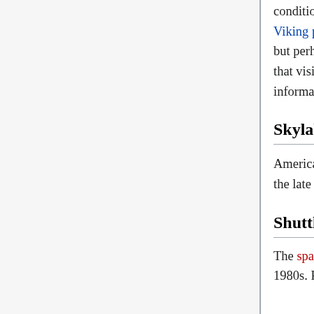conditions before attempting Apollo landings with humans on board. Later, the two Viking probes landed on the surface of Mars and sent color images back to Earth, but perhaps more impressive were the Pioneer and particularly Voyager missions that visited Jupiter, Saturn, Uranus and Neptune sending back scientific information and color images.
Skylab
America's first space station, Skylab, occupied NASA from the end of Apollo until the late 1970s.
Shuttle era
The space shuttle became the major focus of NASA in the late 1970s and the 1980s. Planned to be a frequently